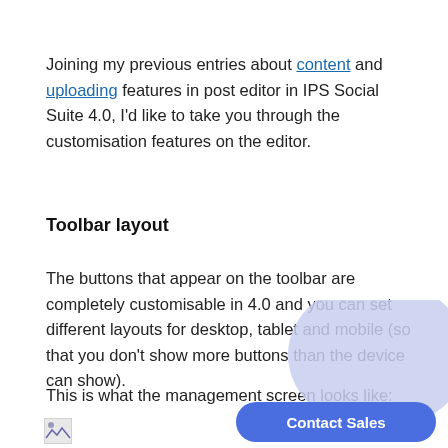Joining my previous entries about content and uploading features in post editor in IPS Social Suite 4.0, I'd like to take you through the customisation features on the editor.
Toolbar layout
The buttons that appear on the toolbar are completely customisable in 4.0 and you can set different layouts for desktop, tablet and mobile (so that you don't show more buttons than the device can show).
This is what the management screen looks like:
[Figure (screenshot): Small image placeholder icon at bottom left]
[Figure (other): Contact Sales button overlay with blue pill-shaped button and lavender bubble background]